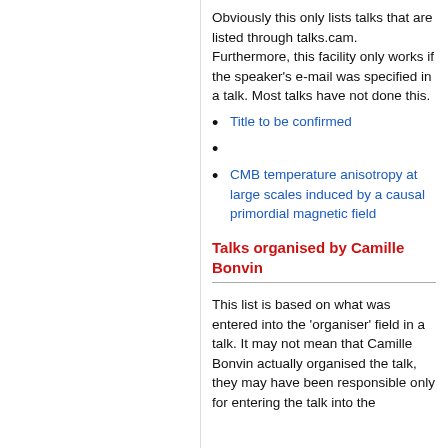Obviously this only lists talks that are listed through talks.cam. Furthermore, this facility only works if the speaker's e-mail was specified in a talk. Most talks have not done this.
Title to be confirmed
CMB temperature anisotropy at large scales induced by a causal primordial magnetic field
Talks organised by Camille Bonvin
This list is based on what was entered into the 'organiser' field in a talk. It may not mean that Camille Bonvin actually organised the talk, they may have been responsible only for entering the talk into the